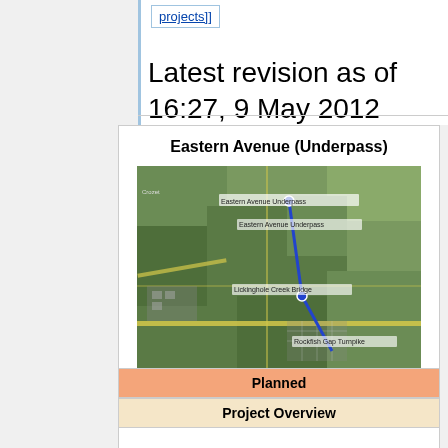projects]]
Latest revision as of 16:27, 9 May 2012
Eastern Avenue (Underpass)
[Figure (map): Aerial satellite map showing Eastern Avenue Underpass location with a blue route line connecting Eastern Avenue Underpass at the top through Lickinghole Creek Bridge in the middle down to Rockfish Gap Turnpike at the bottom.]
Planned
Project Overview